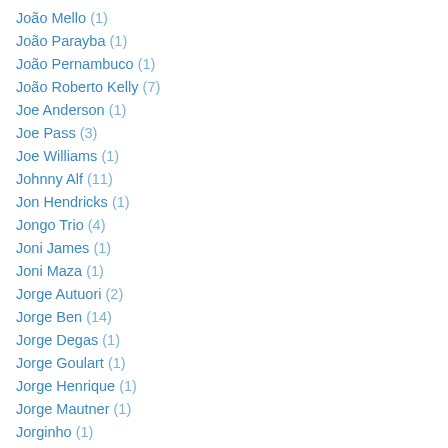João Mello (1)
João Parayba (1)
João Pernambuco (1)
João Roberto Kelly (7)
Joe Anderson (1)
Joe Pass (3)
Joe Williams (1)
Johnny Alf (11)
Jon Hendricks (1)
Jongo Trio (4)
Joni James (1)
Joni Maza (1)
Jorge Autuori (2)
Jorge Ben (14)
Jorge Degas (1)
Jorge Goulart (1)
Jorge Henrique (1)
Jorge Mautner (1)
Jorginho (1)
José Antônio Alves "Zezinho" (1)